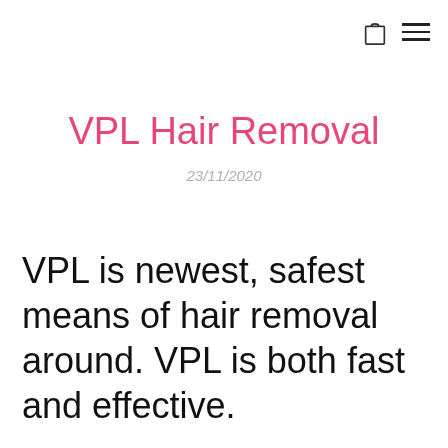[bag icon] [menu icon]
VPL Hair Removal
23/11/2020
VPL is newest, safest means of hair removal around. VPL is both fast and effective.